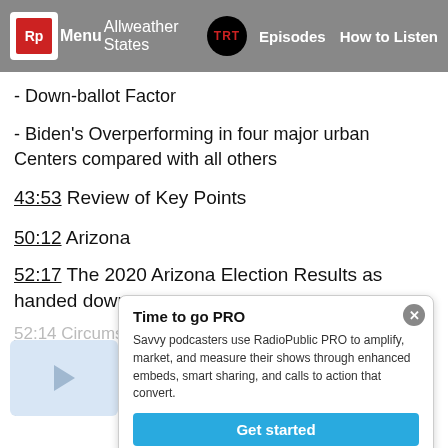Menu | Allweather States | TRT | Episodes | How to Listen
- Down-ballot Factor
- Biden's Overperforming in four major urban Centers compared with all others
43:53 Review of Key Points
50:12 Arizona
52:17 The 2020 Arizona Election Results as handed down
52:14 Circumstanstial Evidence of Fraud in Arizona Addressed
- Mail-voting Procedural and Ballot rejected in 2020 vs 2018
Time to go PRO
Savvy podcasters use RadioPublic PRO to amplify, market, and measure their shows through enhanced embeds, smart sharing, and calls to action that convert.
Get started